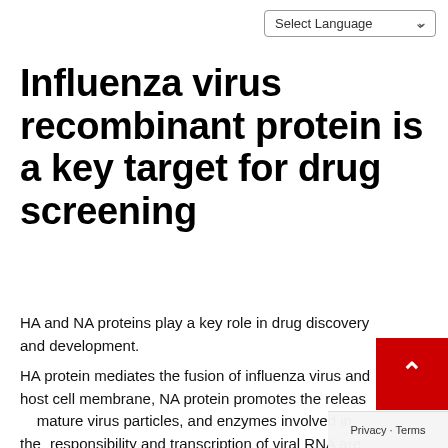Select Language
Influenza virus recombinant protein is a key target for drug screening
HA and NA proteins play a key role in drug discovery and development.
HA protein mediates the fusion of influenza virus and host cell membrane, NA protein promotes the release of mature virus particles, and enzymes involved in the responsibility and transcription of viral RNA are all targets for antiviral drug development.